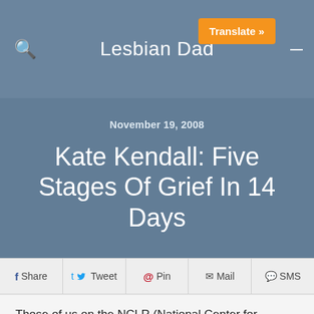Lesbian Dad
November 19, 2008
Kate Kendall: Five Stages Of Grief In 14 Days
f Share  Tweet  Pin  Mail  SMS
Those of us on the NCLR (National Center for Lesbian Rights) mailing list got a note from Executive Director Kate Kendall last night.  Here's the start of it, and I urge you to click over and read the rest of it at her blog.